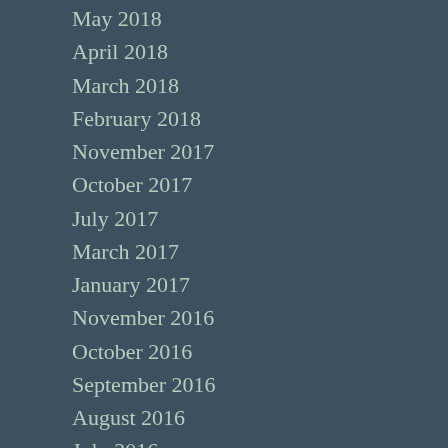May 2018
April 2018
March 2018
February 2018
November 2017
October 2017
July 2017
March 2017
January 2017
November 2016
October 2016
September 2016
August 2016
July 2016
June 2016
May 2016
April 2016
March 2016